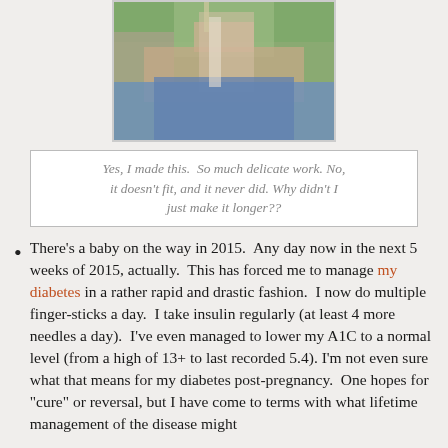[Figure (photo): A person wearing a green knit crop top and jeans, showing the midsection area. The handmade garment appears too short.]
Yes, I made this.  So much delicate work. No, it doesn't fit, and it never did. Why didn't I just make it longer??
There’s a baby on the way in 2015.  Any day now in the next 5 weeks of 2015, actually.  This has forced me to manage my diabetes in a rather rapid and drastic fashion.  I now do multiple finger-sticks a day.  I take insulin regularly (at least 4 more needles a day).  I’ve even managed to lower my A1C to a normal level (from a high of 13+ to last recorded 5.4). I’m not even sure what that means for my diabetes post-pregnancy.  One hopes for “cure” or reversal, but I have come to terms with what lifetime management of the disease might